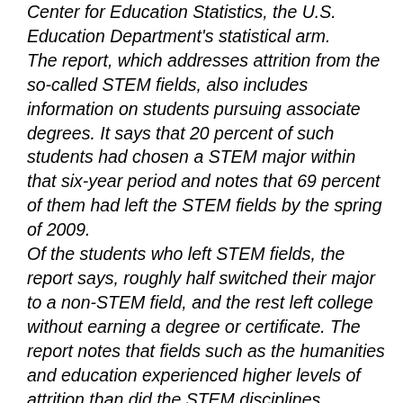Center for Education Statistics, the U.S. Education Department's statistical arm. The report, which addresses attrition from the so-called STEM fields, also includes information on students pursuing associate degrees. It says that 20 percent of such students had chosen a STEM major within that six-year period and notes that 69 percent of them had left the STEM fields by the spring of 2009. Of the students who left STEM fields, the report says, roughly half switched their major to a non-STEM field, and the rest left college without earning a degree or certificate. The report notes that fields such as the humanities and education experienced higher levels of attrition than did the STEM disciplines. The report identifies several factors associated with a higher probability of switching out of STEM majors, such